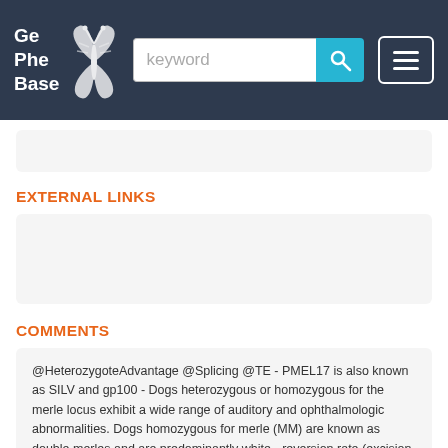GePheBase [keyword search bar with search button and menu button]
EXTERNAL LINKS
COMMENTS
@HeterozygoteAdvantage @Splicing @TE - PMEL17 is also known as SILV and gp100 - Dogs heterozygous or homozygous for the merle locus exhibit a wide range of auditory and ophthalmologic abnormalities. Dogs homozygous for merle (MM) are known as double merles and are predominantly white - reversion rate (excision of the TE...